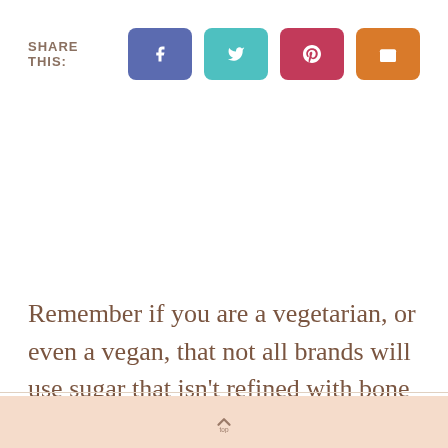[Figure (infographic): Social share bar with SHARE THIS: label and four colored buttons: Facebook (blue-purple), Twitter (teal), Pinterest (pink-red), Email (orange)]
Remember if you are a vegetarian, or even a vegan, that not all brands will use sugar that isn't refined with bone char. So even though
^ top